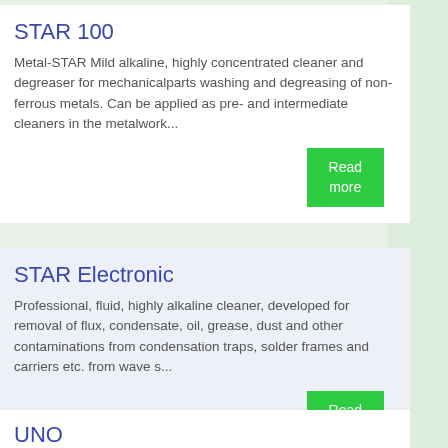STAR 100
Metal-STAR Mild alkaline, highly concentrated cleaner and degreaser for mechanicalparts washing and degreasing of non-ferrous metals. Can be applied as pre- and intermediate cleaners in the metalwork...
STAR Electronic
Professional, fluid, highly alkaline cleaner, developed for removal of flux, condensate, oil, grease, dust and other contaminations from condensation traps, solder frames and carriers etc. from wave s...
UNO